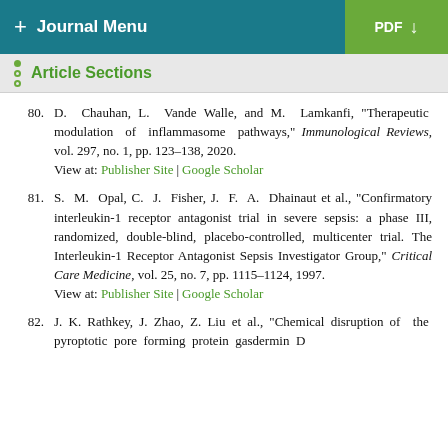+ Journal Menu | PDF
Article Sections
80. D. Chauhan, L. Vande Walle, and M. Lamkanfi, "Therapeutic modulation of inflammasome pathways," Immunological Reviews, vol. 297, no. 1, pp. 123–138, 2020.
View at: Publisher Site | Google Scholar
81. S. M. Opal, C. J. Fisher, J. F. A. Dhainaut et al., "Confirmatory interleukin-1 receptor antagonist trial in severe sepsis: a phase III, randomized, double-blind, placebo-controlled, multicenter trial. The Interleukin-1 Receptor Antagonist Sepsis Investigator Group," Critical Care Medicine, vol. 25, no. 7, pp. 1115–1124, 1997.
View at: Publisher Site | Google Scholar
82. J. K. Rathkey, J. Zhao, Z. Liu et al., "Chemical disruption of the pyroptotic pore forming protein gasdermin D...